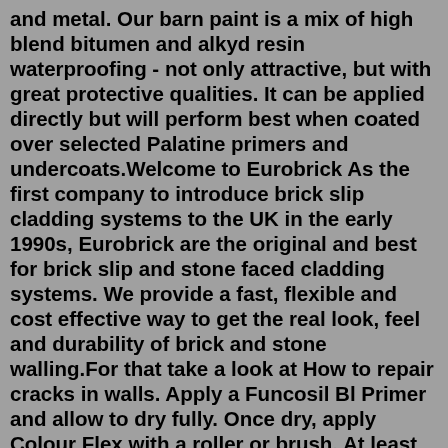and metal. Our barn paint is a mix of high blend bitumen and alkyd resin waterproofing - not only attractive, but with great protective qualities. It can be applied directly but will perform best when coated over selected Palatine primers and undercoats.Welcome to Eurobrick As the first company to introduce brick slip cladding systems to the UK in the early 1990s, Eurobrick are the original and best for brick slip and stone faced cladding systems. We provide a fast, flexible and cost effective way to get the real look, feel and durability of brick and stone walling.For that take a look at How to repair cracks in walls. Apply a Funcosil Bl Primer and allow to dry fully. Once dry, apply Colour Flex with a roller or brush. At least three coats of Colour Flex are required to sufficiently bridge cracks. A drying time of at least 12 hours should be allowed between each layer.The T-Rex 241309 tape is flexible, durable, and weatherproof and can be used indoors and outdoors on brick, shingles, concrete, painted and unpainted wood, and siding. Even though it's